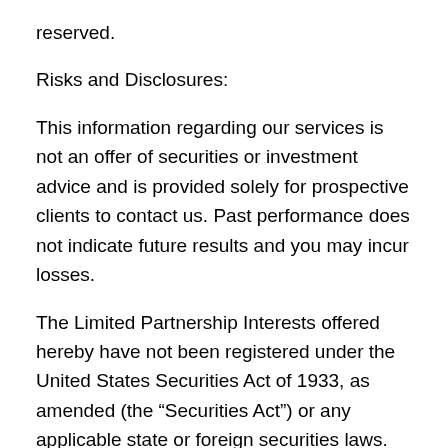reserved.
Risks and Disclosures:
This information regarding our services is not an offer of securities or investment advice and is provided solely for prospective clients to contact us. Past performance does not indicate future results and you may incur losses.
The Limited Partnership Interests offered hereby have not been registered under the United States Securities Act of 1933, as amended (the “Securities Act”) or any applicable state or foreign securities laws. The Interest have not been approved or disapproved by the United States Securities and Exchange Commission (“SEC”) or any state or foreign regulatory authority nor has the SEC or any state or foreign regulatory authority passed upon the accuracy or